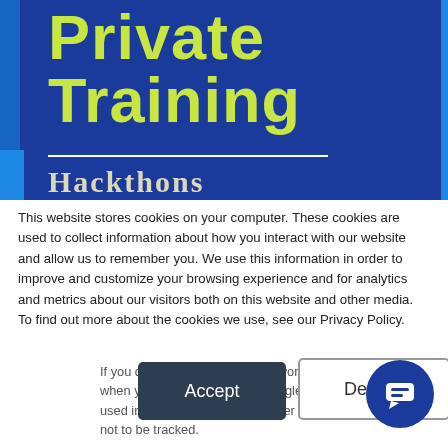[Figure (illustration): Dark blue banner with yellow-green bold text reading 'Private Training', a white horizontal divider line, and serif text 'Hackthons' below. A blue accent strip on the left edge.]
This website stores cookies on your computer. These cookies are used to collect information about how you interact with our website and allow us to remember you. We use this information in order to improve and customize your browsing experience and for analytics and metrics about our visitors both on this website and other media. To find out more about the cookies we use, see our Privacy Policy.
If you decline, your information won't be tracked when you visit this website. A single cookie will be used in your browser to remember your preference not to be tracked.
Accept
Decline